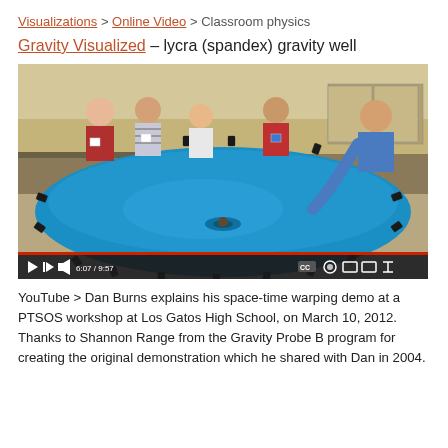Visualizations > Online Video > Classroom physics
Gravity Visualized – lycra (spandex) gravity well
[Figure (screenshot): YouTube video screenshot showing a classroom with students and a teacher around a large blue lycra/spandex sheet stretched on a circular frame, demonstrating a gravity well. Video timestamp shows 6:07 / 9:57.]
YouTube > Dan Burns explains his space-time warping demo at a PTSOS workshop at Los Gatos High School, on March 10, 2012. Thanks to Shannon Range from the Gravity Probe B program for creating the original demonstration which he shared with Dan in 2004.